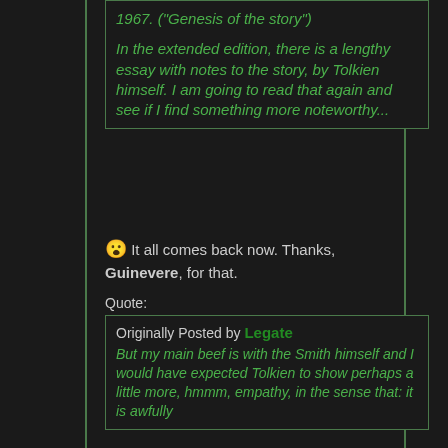1967. ("Genesis of the story") In the extended edition, there is a lengthy essay with notes to the story, by Tolkien himself. I am going to read that again and see if I find something more noteworthy...
😮 It all comes back now. Thanks, Guinevere, for that.
Quote:
Originally Posted by Legate
But my main beef is with the Smith himself and I would have expected Tolkien to show perhaps a little more, hmmm, empathy, in the sense that: it is awfully